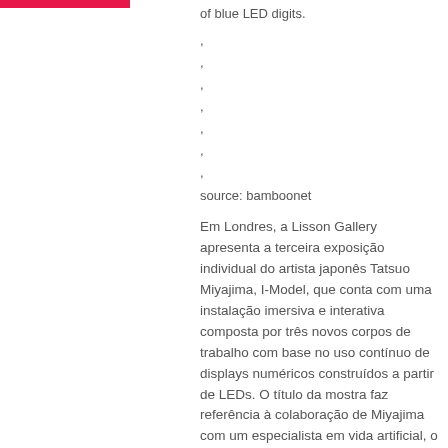of blue LED digits.
,
,
,
,
,
,
,
source: bamboonet
Em Londres, a Lisson Gallery apresenta a terceira exposição individual do artista japonês Tatsuo Miyajima, I-Model, que conta com uma instalação imersiva e interativa composta por três novos corpos de trabalho com base no uso contínuo de displays numéricos construídos a partir de LEDs. O título da mostra faz referência à colaboração de Miyajima com um especialista em vida artificial, o professor Takashi Ikegami, da Universidade de Tóquio. A exposição apresenta o resultado desta parceria, que originou um programa de computador que gera sequências de números capazes de responder aos ritmos e velocidades de sistemas externos, ou seja, capazes de interagir com o público. Batizada de Corps Sans Organe (Corpo